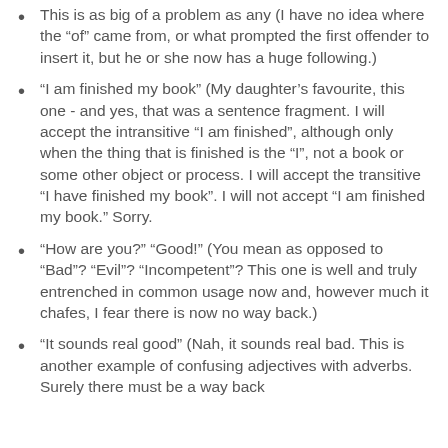This is as big of a problem as any (I have no idea where the “of” came from, or what prompted the first offender to insert it, but he or she now has a huge following.)
“I am finished my book” (My daughter’s favourite, this one - and yes, that was a sentence fragment. I will accept the intransitive “I am finished”, although only when the thing that is finished is the “I”, not a book or some other object or process. I will accept the transitive “I have finished my book”. I will not accept “I am finished my book.” Sorry.
“How are you?” “Good!” (You mean as opposed to “Bad”? “Evil”? “Incompetent”? This one is well and truly entrenched in common usage now and, however much it chafes, I fear there is now no way back.)
“It sounds real good” (Nah, it sounds real bad. This is another example of confusing adjectives with adverbs. Surely there must be a way back